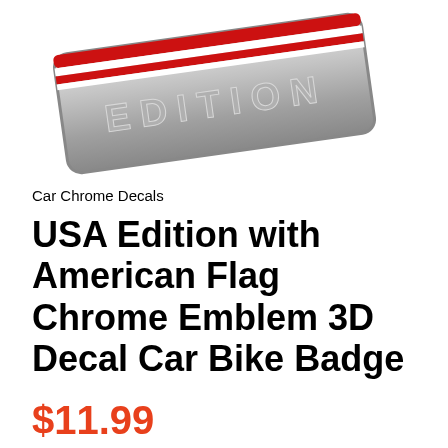[Figure (photo): Chrome emblem badge with 'EDITION' text and American flag stripes (red and white), photographed at an angle on white background]
Car Chrome Decals
USA Edition with American Flag Chrome Emblem 3D Decal Car Bike Badge
$11.99
Quantity  -  1  +
Add to Cart